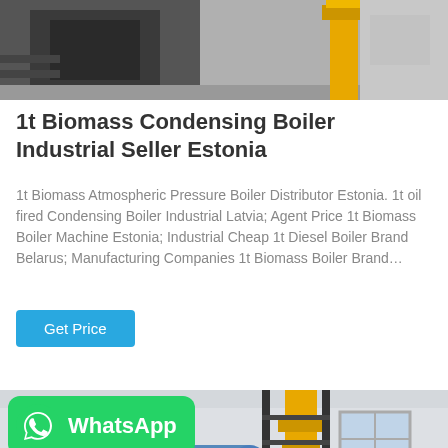[Figure (photo): Industrial boiler equipment in warehouse setting with yellow pipe visible on right side]
1t Biomass Condensing Boiler Industrial Seller Estonia
1t Biomass Atmospheric Pressure Boiler Distributor Estonia. 1t oil fired Condensing Boiler Industrial Latvia; Agent Price 1t Biomass Boiler Machine Estonia; Industrial Cheap 1t Diesel Boiler Brand Belarus; Manufacturing Companies 1t Biomass Boiler Brand…
Get Price
[Figure (photo): Industrial gas boiler in factory interior with yellow vertical pipe, blue cylindrical boiler tank and red burner component visible. WhatsApp badge overlay on bottom-left.]